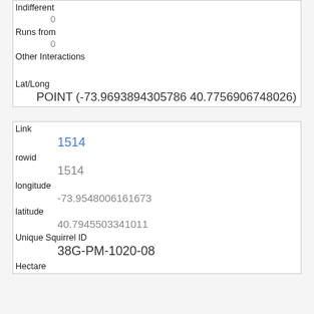| Indifferent | 0 |
| Runs from | 0 |
| Other Interactions |  |
| Lat/Long | POINT (-73.9693894305786 40.7756906748026) |
| Link | 1514 |
| rowid | 1514 |
| longitude | -73.9548006161673 |
| latitude | 40.7945503341011 |
| Unique Squirrel ID | 38G-PM-1020-08 |
| Hectare |  |